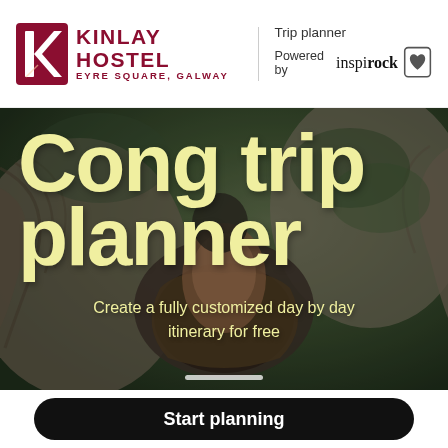[Figure (logo): Kinlay Hostel logo with red K symbol and text 'KINLAY HOSTEL / EYRE SQUARE, GALWAY' plus 'Trip planner Powered by inspirock' with heart icon]
[Figure (photo): Background photo of a hawk/bird of prey with wings spread, held by a falconer wearing gloves, with green foliage in background. Large yellow-cream text overlay reads 'Cong trip planner' with subtitle 'Create a fully customized day by day itinerary for free']
Cong trip planner
Create a fully customized day by day itinerary for free
Start planning